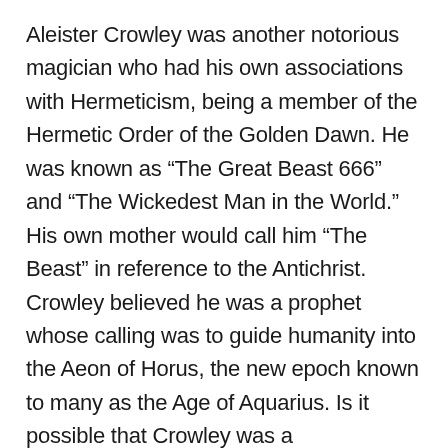Aleister Crowley was another notorious magician who had his own associations with Hermeticism, being a member of the Hermetic Order of the Golden Dawn. He was known as “The Great Beast 666” and “The Wickedest Man in the World.” His own mother would call him “The Beast” in reference to the Antichrist. Crowley believed he was a prophet whose calling was to guide humanity into the Aeon of Horus, the new epoch known to many as the Age of Aquarius. Is it possible that Crowley was a reincarnation of Simon Magus given both men’s connections to sorcery and the Antichrist? In “The Man Who Broke Free,” I wrote that the Antichrist in Revelation would be a self-aware artificial intelligence. While I do still believe this to be the case, as I do believe there is a symbiotic relationship between A.I.